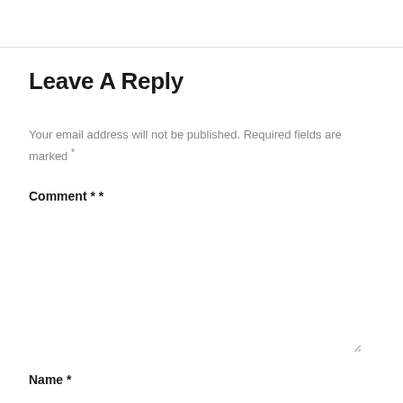Leave A Reply
Your email address will not be published. Required fields are marked *
Comment * *
[Figure (other): Comment text area input box, empty, light gray background with rounded corners and resize handle]
Name *